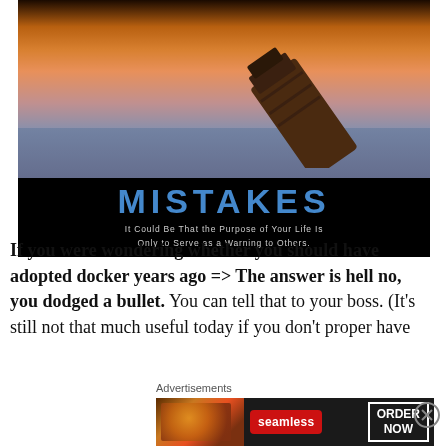[Figure (photo): Motivational demotivational poster with a sinking ship at sunset. Black background with blue title 'MISTAKES' and subtitle 'It Could Be That the Purpose of Your Life Is Only to Serve as a Warning to Others.']
If you were wondering whether you should have adopted docker years ago => The answer is hell no, you dodged a bullet. You can tell that to your boss. (It's still not that much useful today if you don't proper have
Advertisements
[Figure (photo): Seamless food delivery advertisement banner showing pizza slices, Seamless red logo, and ORDER NOW button]